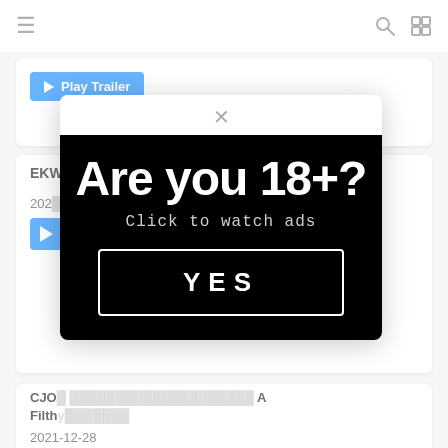[Figure (screenshot): Website navigation bar with hamburger menu icon on left and search/fullscreen icons on right]
[Figure (screenshot): Age verification modal popup with black background reading 'Are you 18+? Click to watch ads' and a YES button, overlaid on a website content page showing movie/video listings with Play Trailer buttons and dates like 2021-12-28]
EKW...
2021
CJOD... Filthy...
2021-12-28